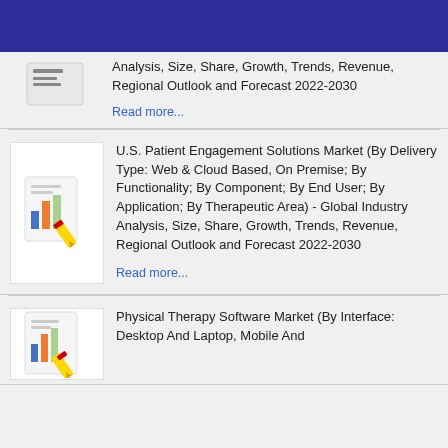[Figure (illustration): Dark blue header banner at top of page]
Analysis, Size, Share, Growth, Trends, Revenue, Regional Outlook and Forecast 2022-2030
Read more...
[Figure (illustration): Market research report icon with bar chart and pencil]
U.S. Patient Engagement Solutions Market (By Delivery Type: Web & Cloud Based, On Premise; By Functionality; By Component; By End User; By Application; By Therapeutic Area) - Global Industry Analysis, Size, Share, Growth, Trends, Revenue, Regional Outlook and Forecast 2022-2030
Read more...
[Figure (illustration): Market research report icon with bar chart and pencil]
Physical Therapy Software Market (By Interface: Desktop And Laptop, Mobile And